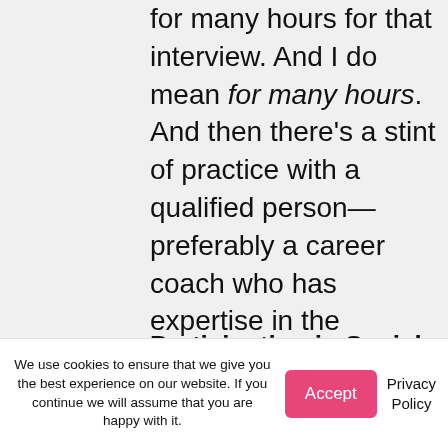for many hours for that interview. And I do mean for many hours. And then there's a stint of practice with a qualified person—preferably a career coach who has expertise in the specific area of interview skills. Could you imitate Fred Astaire by reading a book about dancing?
Participation in Social Media
We use cookies to ensure that we give you the best experience on our website. If you continue we will assume that you are happy with it.